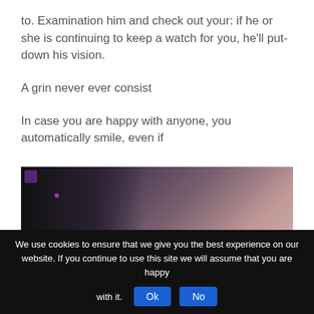to. Examination him and check out your: if he or she is continuing to keep a watch for you, he'll put-down his vision.
A grin never ever consist
In case you are happy with anyone, you automatically smile, even if
[Figure (photo): A man and a woman standing close together in a dimly lit indoor setting.]
We use cookies to ensure that we give you the best experience on our website. If you continue to use this site we will assume that you are happy with it.